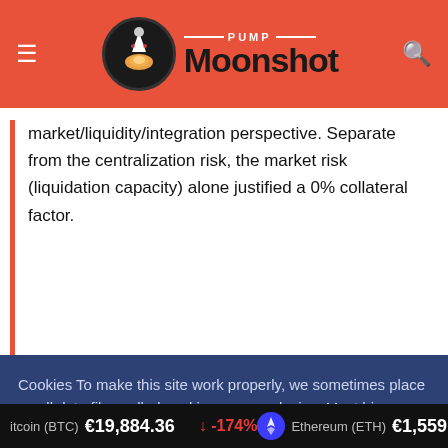Pump Moonshot
market/liquidity/integration perspective. Separate from the centralization risk, the market risk (liquidation capacity) alone justified a 0% collateral factor.
Cookies To make this site work properly, we sometimes place small data files called cookies on your device. Most big websites do this too. Read more →
✔ Accept
Cookies Settings ⚙
itcoin (BTC) €19,884.36 ↓ -174% Ethereum (ETH) €1,559.12